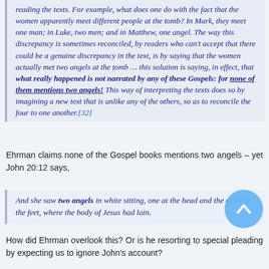reading the texts. For example, what does one do with the fact that the women apparently meet different people at the tomb? In Mark, they meet one man; in Luke, two men; and in Matthew, one angel. The way this discrepancy is sometimes reconciled, by readers who can't accept that there could be a genuine discrepancy in the text, is by saying that the women actually met two angels at the tomb … this solution is saying, in effect, that what really happened is not narrated by any of these Gospels: for none of them mentions two angels! This way of interpreting the texts does so by imagining a new text that is unlike any of the others, so as to reconcile the four to one another.[32]
Ehrman claims none of the Gospel books mentions two angels – yet John 20:12 says,
And she saw two angels in white sitting, one at the head and the other at the feet, where the body of Jesus had lain.
How did Ehrman overlook this? Or is he resorting to special pleading by expecting us to ignore John's account?